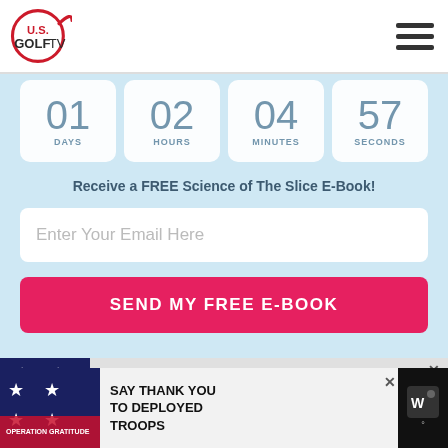[Figure (logo): U.S. GolfTV logo — red circle with U.S. text, GolfTV in bold]
[Figure (infographic): Hamburger menu icon (three horizontal lines) in top right]
[Figure (infographic): Countdown timer showing 01 DAYS, 02 HOURS, 04 MINUTES, 57 SECONDS in light blue boxes]
Receive a FREE Science of The Slice E-Book!
Enter Your Email Here
SEND MY FREE E-BOOK
[Figure (screenshot): Advertisement banner: SAY THANK YOU with patriotic stars and stripes background]
[Figure (screenshot): Bottom sticky ad: Operation Gratitude — SAY THANK YOU TO DEPLOYED TROOPS with patriotic imagery]